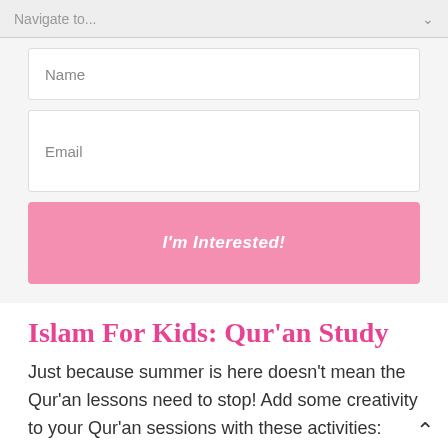Navigate to...
Name
Email
I'm Interested!
Islam For Kids: Qur'an Study
Just because summer is here doesn't mean the Qur'an lessons need to stop! Add some creativity to your Qur'an sessions with these activities: